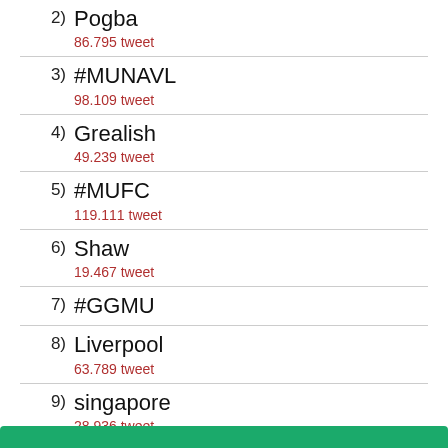2) Pogba — 86.795 tweet
3) #MUNAVL — 98.109 tweet
4) Grealish — 49.239 tweet
5) #MUFC — 119.111 tweet
6) Shaw — 19.467 tweet
7) #GGMU
8) Liverpool — 63.789 tweet
9) singapore — 28.936 tweet
10) Covid — 1.483.022 tweet